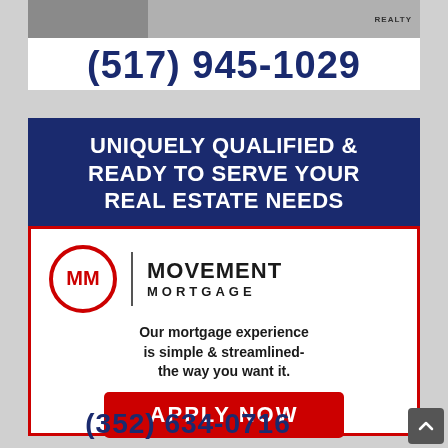[Figure (photo): Person photo strip at top with Realty logo on right]
(517) 945-1029
UNIQUELY QUALIFIED & READY TO SERVE YOUR REAL ESTATE NEEDS
[Figure (logo): Movement Mortgage logo with MM circle and text]
Our mortgage experience is simple & streamlined- the way you want it.
APPLY NOW
(352) 634-0716